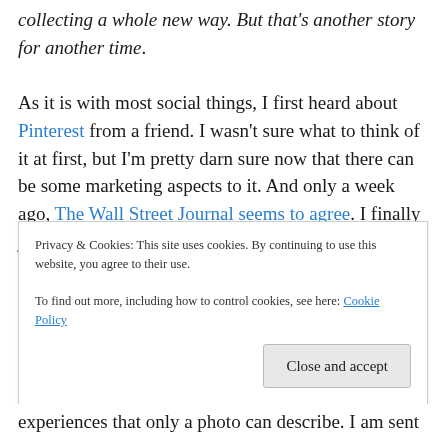collecting a whole new way.  But that's another story for another time.
As it is with most social things, I first heard about Pinterest from a friend.  I wasn't sure what to think of it at first, but I'm pretty darn sure now that there can be some marketing aspects to it.  And only a week ago,  The Wall Street Journal seems to agree.  I finally joined because I kept seeing referral hits on my blog from Pinterest and I'm pretty sure at least one pattern sale this month originated from that direction as well. I've also found it's a great way to find more things in genres I love, like Dr. Who, Steam
Privacy & Cookies: This site uses cookies. By continuing to use this website, you agree to their use.
To find out more, including how to control cookies, see here: Cookie Policy
experiences that only a photo can describe.  I am sent